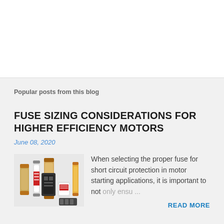Popular posts from this blog
FUSE SIZING CONSIDERATIONS FOR HIGHER EFFICIENCY MOTORS
June 08, 2020
[Figure (photo): Assorted electrical fuses of various sizes and types]
When selecting the proper fuse for short circuit protection in motor starting applications, it is important to not only ensu ...
READ MORE